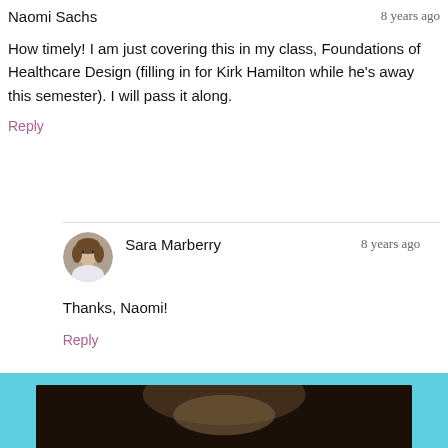Naomi Sachs
8 years ago
How timely! I am just covering this in my class, Foundations of Healthcare Design (filling in for Kirk Hamilton while he's away this semester). I will pass it along.
Reply
[Figure (photo): Circular avatar photo of Sara Marberry, a woman with short brown hair]
Sara Marberry
8 years ago
Thanks, Naomi!
Reply
[Figure (photo): Bottom banner with teal/cyan background and partial photo of a person]